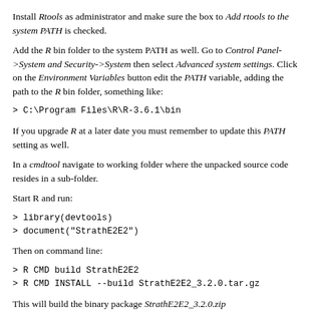Install Rtools as administrator and make sure the box to Add rtools to the system PATH is checked.
Add the R bin folder to the system PATH as well. Go to Control Panel->System and Security->System then select Advanced system settings. Click on the Environment Variables button edit the PATH variable, adding the path to the R bin folder, something like:
If you upgrade R at a later date you must remember to update this PATH setting as well.
In a cmdtool navigate to working folder where the unpacked source code resides in a sub-folder.
Start R and run:
Then on command line:
This will build the binary package StrathE2E2_3.2.0.zip